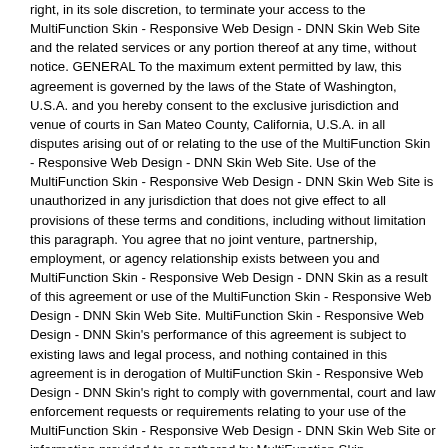right, in its sole discretion, to terminate your access to the MultiFunction Skin - Responsive Web Design - DNN Skin Web Site and the related services or any portion thereof at any time, without notice. GENERAL To the maximum extent permitted by law, this agreement is governed by the laws of the State of Washington, U.S.A. and you hereby consent to the exclusive jurisdiction and venue of courts in San Mateo County, California, U.S.A. in all disputes arising out of or relating to the use of the MultiFunction Skin - Responsive Web Design - DNN Skin Web Site. Use of the MultiFunction Skin - Responsive Web Design - DNN Skin Web Site is unauthorized in any jurisdiction that does not give effect to all provisions of these terms and conditions, including without limitation this paragraph. You agree that no joint venture, partnership, employment, or agency relationship exists between you and MultiFunction Skin - Responsive Web Design - DNN Skin as a result of this agreement or use of the MultiFunction Skin - Responsive Web Design - DNN Skin Web Site. MultiFunction Skin - Responsive Web Design - DNN Skin's performance of this agreement is subject to existing laws and legal process, and nothing contained in this agreement is in derogation of MultiFunction Skin - Responsive Web Design - DNN Skin's right to comply with governmental, court and law enforcement requests or requirements relating to your use of the MultiFunction Skin - Responsive Web Design - DNN Skin Web Site or information provided to or gathered by MultiFunction Skin -